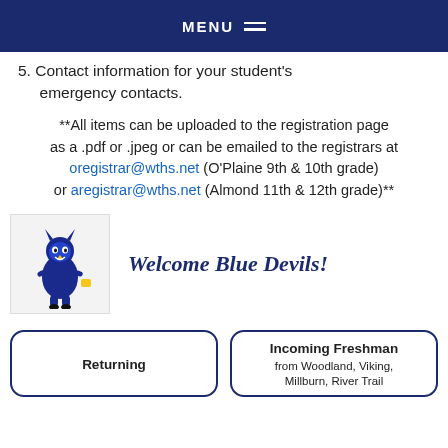MENU
5. Contact information for your student's emergency contacts.
**All items can be uploaded to the registration page as a .pdf or .jpeg or can be emailed to the registrars at oregistrar@wths.net (O'Plaine 9th & 10th grade) or aregistrar@wths.net (Almond 11th & 12th grade)**
[Figure (illustration): Blue Devils mascot — a blue devil character carrying something, depicted as a cartoon]
Welcome Blue Devils!
Returning
Incoming Freshman from Woodland, Viking, Millburn, River Trail